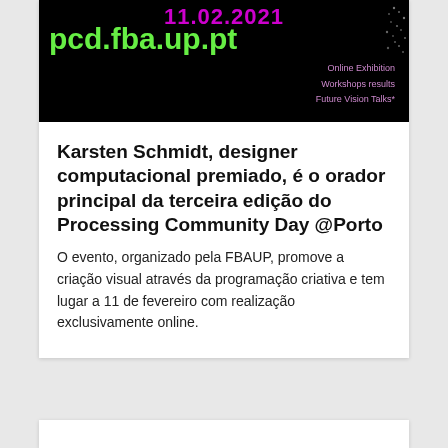[Figure (screenshot): Banner image with black background showing partial date '11.02.2021', URL 'pcd.fba.up.pt' in green, and menu items 'Online Exhibition', 'Workshops results', 'Future Vision Talks' in purple, with decorative dots on the right.]
Karsten Schmidt, designer computacional premiado, é o orador principal da terceira edição do Processing Community Day @Porto
O evento, organizado pela FBAUP, promove a criação visual através da programação criativa e tem lugar a 11 de fevereiro com realização exclusivamente online.